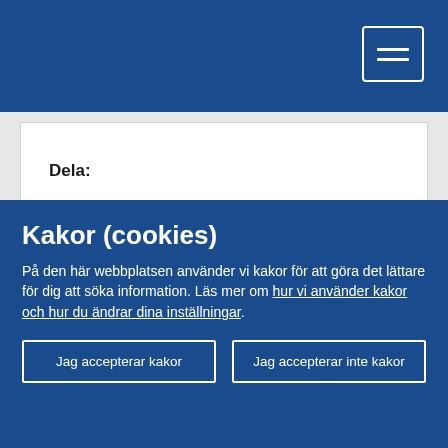Navigation bar with hamburger menu button
Dela:
[Figure (other): Loading spinner (dashed circle animation)]
Webbplatskarta
Kakor (cookies)
På den här webbplatsen använder vi kakor för att göra det lättare för dig att söka information. Läs mer om hur vi använder kakor och hur du ändrar dina inställningar.
Jag accepterar kakor
Jag accepterar inte kakor